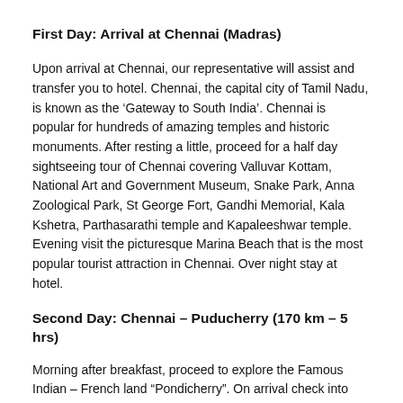First Day: Arrival at Chennai (Madras)
Upon arrival at Chennai, our representative will assist and transfer you to hotel. Chennai, the capital city of Tamil Nadu, is known as the ‘Gateway to South India’. Chennai is popular for hundreds of amazing temples and historic monuments. After resting a little, proceed for a half day sightseeing tour of Chennai covering Valluvar Kottam, National Art and Government Museum, Snake Park, Anna Zoological Park, St George Fort, Gandhi Memorial, Kala Kshetra, Parthasarathi temple and Kapaleeshwar temple. Evening visit the picturesque Marina Beach that is the most popular tourist attraction in Chennai. Over night stay at hotel.
Second Day: Chennai – Puducherry (170 km – 5 hrs)
Morning after breakfast, proceed to explore the Famous Indian – French land “Pondicherry”. On arrival check into hotel and proceed for a full day sightseeing tour of Puducherry...